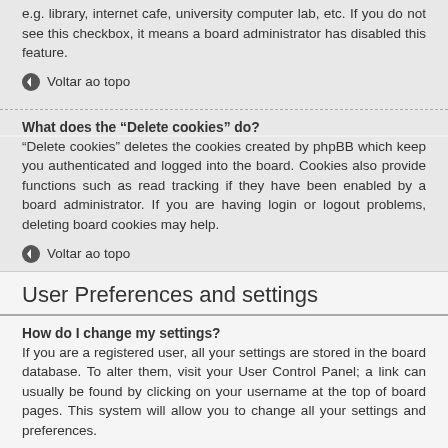e.g. library, internet cafe, university computer lab, etc. If you do not see this checkbox, it means a board administrator has disabled this feature.
Voltar ao topo
What does the “Delete cookies” do?
“Delete cookies” deletes the cookies created by phpBB which keep you authenticated and logged into the board. Cookies also provide functions such as read tracking if they have been enabled by a board administrator. If you are having login or logout problems, deleting board cookies may help.
Voltar ao topo
User Preferences and settings
How do I change my settings?
If you are a registered user, all your settings are stored in the board database. To alter them, visit your User Control Panel; a link can usually be found by clicking on your username at the top of board pages. This system will allow you to change all your settings and preferences.
Voltar ao topo
How do I prevent my username appearing in the online user listings?
Within your User Control Panel, under “Board preferences”, you will find the option Hide your online status. Enable this option and you will only appear to